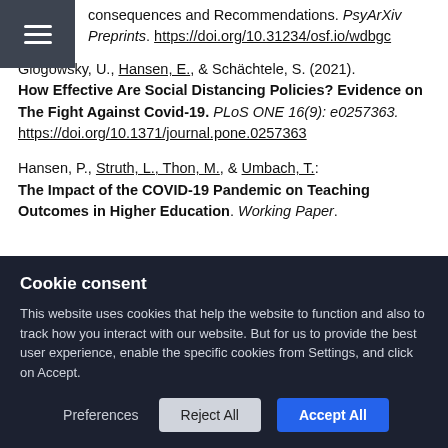consequences and Recommendations. PsyArXiv Preprints. https://doi.org/10.31234/osf.io/wdbgc
Glogowsky, U., Hansen, E., & Schächtele, S. (2021). How Effective Are Social Distancing Policies? Evidence on The Fight Against Covid-19. PLoS ONE 16(9): e0257363. https://doi.org/10.1371/journal.pone.0257363
Hansen, P., Struth, L., Thon, M., & Umbach, T.: The Impact of the COVID-19 Pandemic on Teaching Outcomes in Higher Education. Working Paper.
Cookie consent
This website uses cookies that help the website to function and also to track how you interact with our website. But for us to provide the best user experience, enable the specific cookies from Settings, and click on Accept.